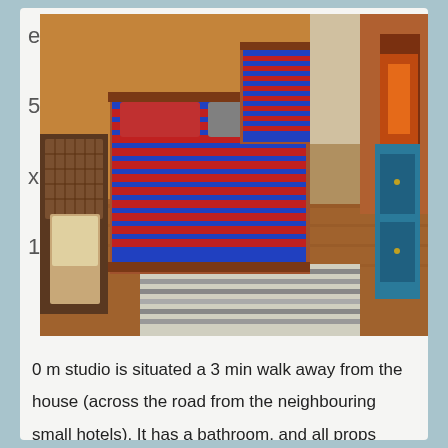[Figure (photo): Interior bedroom photo showing two beds with blue and red striped blankets, a wicker chair, wooden floors, a striped rug, and a blue cabinet near a fireplace]
e
5
x
1
0 m studio is situated a 3 min walk away from the house (across the road from the neighbouring small hotels). It has a bathroom, and all props (mats, bricks, blocks, bolsters, belts, blankets, chairs) for 12 people are provided. The studio has adequate space for 16 students practicing yoga.
As for eating options, an in-house cook can be